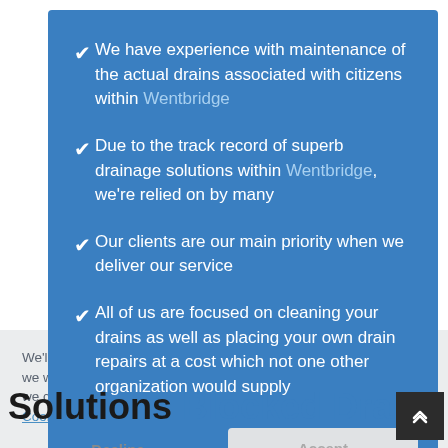We have experience with maintenance of the actual drains associated with citizens within Wentbridge
Due to the track record of superb drainage solutions within Wentbridge, we're relied on by many
Our clients are our main priority when we deliver our service
All of us are focused on cleaning your drains as well as placing your own drain repairs at a cost which not one other organization would supply
We'll always treat your personal data with the utmost care, and we want you to understand what data we collect from you, why we collect it, and how we process it. Please read our Privacy & Cookie Policy before continuing.
Read Our Privacy and Cookie Policy
Decline
Accept
Solutions Blocked Drains